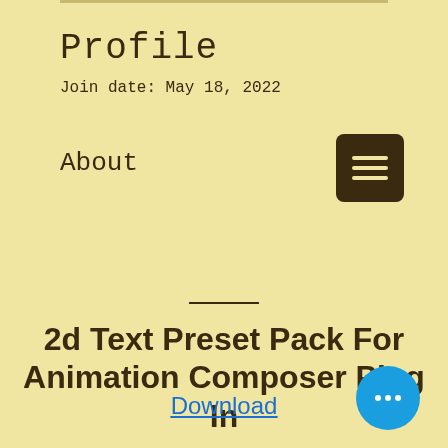Profile
Join date: May 18, 2022
About
[Figure (other): Hamburger menu button icon with three horizontal lines on dark brown square background]
—
2d Text Preset Pack For Animation Composer Plug In
Download